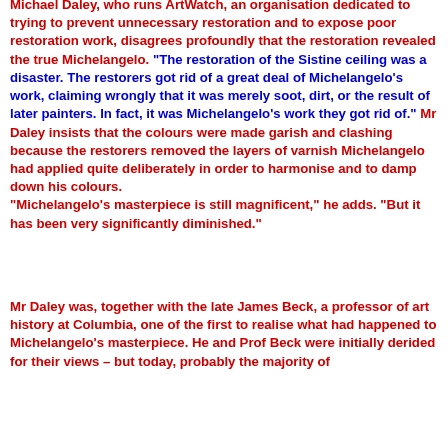Michael Daley, who runs ArtWatch, an organisation dedicated to trying to prevent unnecessary restoration and to expose poor restoration work, disagrees profoundly that the restoration revealed the true Michelangelo. "The restoration of the Sistine ceiling was a disaster. The restorers got rid of a great deal of Michelangelo's work, claiming wrongly that it was merely soot, dirt, or the result of later painters. In fact, it was Michelangelo's work they got rid of." Mr Daley insists that the colours were made garish and clashing because the restorers removed the layers of varnish Michelangelo had applied quite deliberately in order to harmonise and to damp down his colours. "Michelangelo's masterpiece is still magnificent," he adds. "But it has been very significantly diminished."
Mr Daley was, together with the late James Beck, a professor of art history at Columbia, one of the first to realise what had happened to Michelangelo's masterpiece. He and Prof Beck were initially derided for their views – but today, probably the majority of